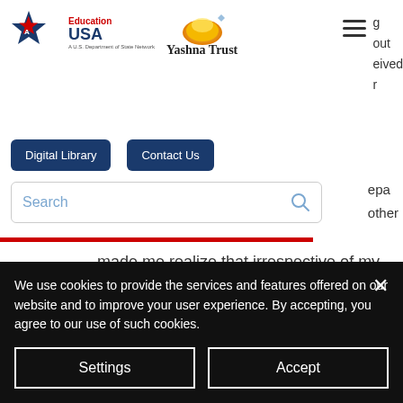[Figure (logo): EducationUSA logo - blue star with red accent, text 'Education USA', subtitle 'A U.S. Department of State Network']
[Figure (logo): Yashna Trust logo - golden sun/dome icon with text 'Yashna Trust']
[Figure (other): Hamburger menu icon (three horizontal lines) with partially visible navigation text: 'g', 'out', 'eived', 'r']
Digital Library
Contact Us
Search
epa other
made me realize that irrespective of my decision, I was already a part of the Spartan community.
We use cookies to provide the services and features offered on our website and to improve your user experience. By accepting, you agree to our use of such cookies.
Settings
Accept